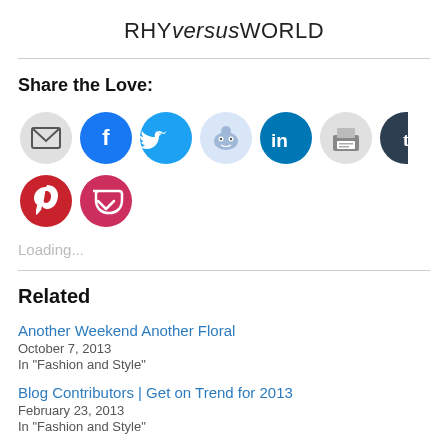RHYversusWORLD
Share the Love:
[Figure (infographic): Row of 9 social sharing icon buttons: email (gray), Facebook (blue), Twitter (light blue), Reddit (light blue), LinkedIn (dark blue), print (gray), Tumblr (dark navy), Pinterest (red), Pocket (red)]
Loading...
Related
Another Weekend Another Floral
October 7, 2013
In "Fashion and Style"
Blog Contributors | Get on Trend for 2013
February 23, 2013
In "Fashion and Style"